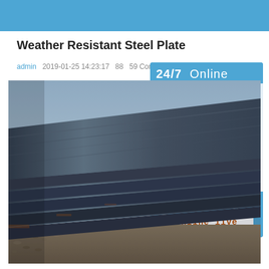Weather Resistant Steel Plate
admin   2019-01-25 14:23:17   88   59 Comment
[Figure (photo): Stacked weather resistant steel plates outdoors near water, showing dark oxidized surface texture]
[Figure (infographic): 24/7 Online support widget with customer service representative photo, PROVIDE SUPPORT Empowering Customer Service, online live button]